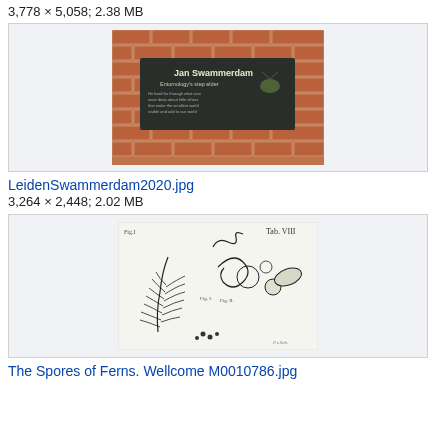3,778 × 5,058; 2.38 MB
[Figure (photo): Photo of a commemorative plaque for Jan Swammerdam mounted on a red brick wall. The plaque is dark-colored with text and an insect illustration.]
LeidenSwammerdam2020.jpg
3,264 × 2,448; 2.02 MB
[Figure (illustration): Black and white botanical/scientific illustration of fern spores and related structures, with labels. Title reads 'Tab.VIII' in top right.]
The Spores of Ferns. Wellcome M0010786.jpg